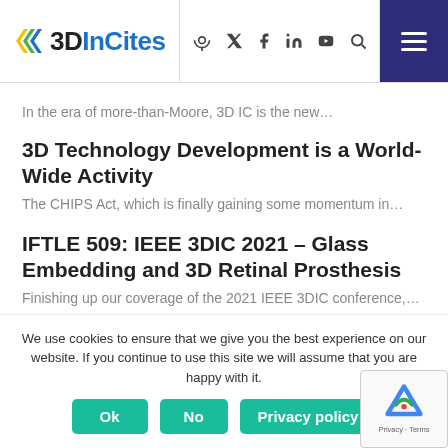3DInCites [nav icons] [hamburger menu]
In the era of more-than-Moore, 3D IC is the new…
3D Technology Development is a World-Wide Activity
The CHIPS Act, which is finally gaining some momentum in…
IFTLE 509: IEEE 3DIC 2021 – Glass Embedding and 3D Retinal Prosthesis
Finishing up our coverage of the 2021 IEEE 3DIC conference,…
We use cookies to ensure that we give you the best experience on our website. If you continue to use this site we will assume that you are happy with it.